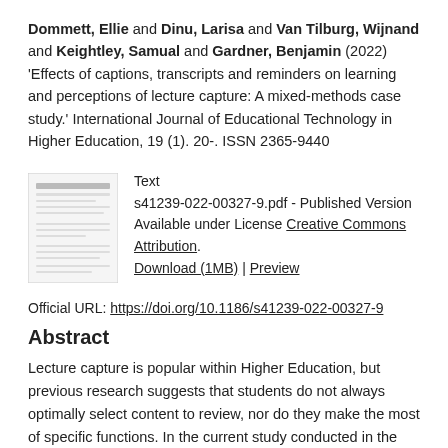Dommett, Ellie and Dinu, Larisa and Van Tilburg, Wijnand and Keightley, Samual and Gardner, Benjamin (2022) 'Effects of captions, transcripts and reminders on learning and perceptions of lecture capture: A mixed-methods case study.' International Journal of Educational Technology in Higher Education, 19 (1). 20-. ISSN 2365-9440
[Figure (other): Thumbnail image of a document page (PDF preview)]
Text
s41239-022-00327-9.pdf - Published Version
Available under License Creative Commons Attribution.
Download (1MB) | Preview
Official URL: https://doi.org/10.1186/s41239-022-00327-9
Abstract
Lecture capture is popular within Higher Education, but previous research suggests that students do not always optimally select content to review, nor do they make the most of specific functions. In the current study conducted in the 2019/20 academic year, we used a repeated-